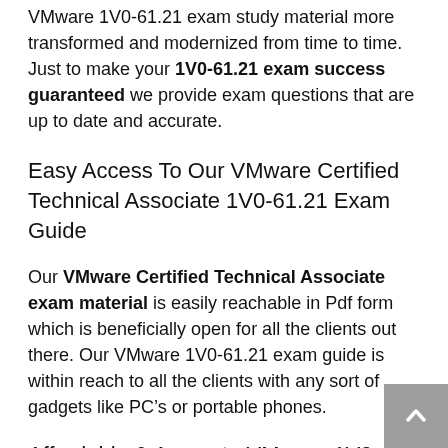VMware 1V0-61.21 exam study material more transformed and modernized from time to time. Just to make your 1V0-61.21 exam success guaranteed we provide exam questions that are up to date and accurate.
Easy Access To Our VMware Certified Technical Associate 1V0-61.21 Exam Guide
Our VMware Certified Technical Associate exam material is easily reachable in Pdf form which is beneficially open for all the clients out there. Our VMware 1V0-61.21 exam guide is within reach to all the clients with any sort of gadgets like PC’s or portable phones.
Affordable & Accurate VMware 1V0-61.21 Exam Guide